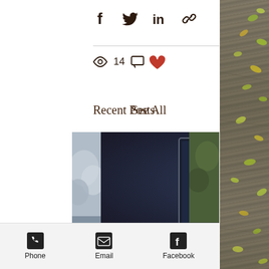[Figure (infographic): Social share icons row: Facebook, Twitter, LinkedIn, Link]
14
[Figure (photo): Woman in black workout outfit posing dramatically in front of a large screen displaying a stormy lightning scene with smoke on the ground]
Recent Posts
See All
Phone    Email    Facebook